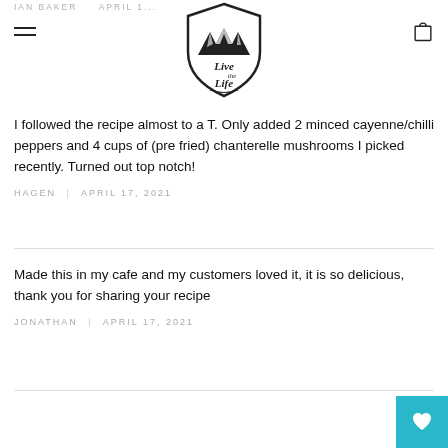IAN BAKER  APRIL 1...
[Figure (logo): Live The Life logo — mountain silhouette in a shield shape with script text 'Live the Life']
I followed the recipe almost to a T. Only added 2 minced cayenne/chilli peppers and 4 cups of (pre fried) chanterelle mushrooms I picked recently. Turned out top notch!
HAGEN   APRIL 17, 2021
Made this in my cafe and my customers loved it, it is so delicious, thank you for sharing your recipe
JONATHAN   APRIL 17, 2021